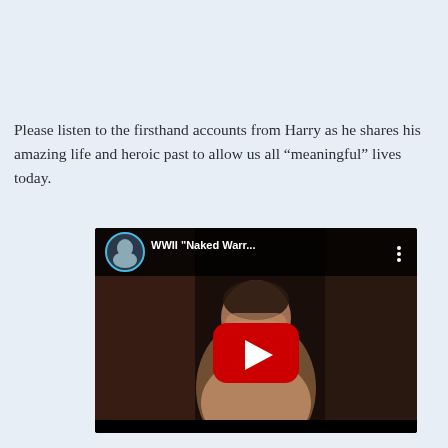Please listen to the firsthand accounts from Harry as he shares his amazing life and heroic past to allow us all “meaningful” lives today.
[Figure (screenshot): YouTube video thumbnail showing WWII 'Naked Warr...' video with a sepia-toned image of a man, YouTube play button overlay, channel avatar, and video title in top bar.]